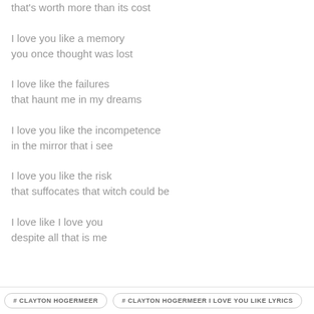that's worth more than its cost
I love you like a memory
you once thought was lost
I love like the failures
that haunt me in my dreams
I love you like the incompetence
in the mirror that i see
I love you like the risk
that suffocates that witch could be
I love like I love you
despite all that is me
# CLAYTON HOGERMEER    # CLAYTON HOGERMEER I LOVE YOU LIKE LYRICS